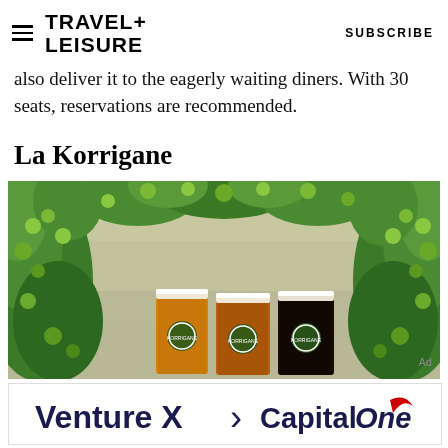TRAVEL+ LEISURE | SUBSCRIBE
also deliver it to the eagerly waiting diners. With 30 seats, reservations are recommended.
La Korrigane
[Figure (photo): Three La Korrigane branded beer glasses filled with different beers (golden ale, amber ale, dark stout) arranged in front of a wall covered with green hop vines.]
[Figure (logo): Venture X > Capital One advertisement banner]